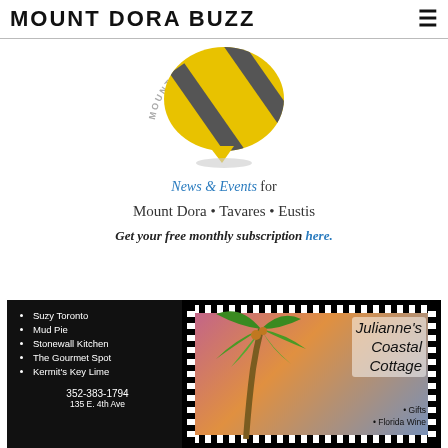MOUNT DORA BUZZ
[Figure (logo): Mount Dora Buzz logo: speech bubble shape with yellow and dark gray diagonal stripes, circular, with 'MOUNT DORA BUZZ' text arced around it]
News & Events for Mount Dora • Tavares • Eustis
Get your free monthly subscription here.
[Figure (illustration): Advertisement for Julianne's Coastal Cottage. Left black panel lists: Suzy Toronto, Mud Pie, Stonewall Kitchen, The Gourmet Spot, Kermit's Key Lime, phone 352-383-1794, address 135 E. 4th Ave. Right panel shows illustrated palm trees with 'Julianne's Coastal Cottage' text and sub-items including Gifts, Florida Wine.]